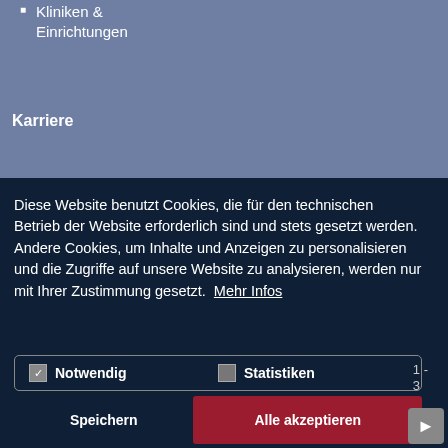Kliniken & Einrichtungen
Karriere
Diese Website benutzt Cookies, die für den technischen Betrieb der Website erforderlich sind und stets gesetzt werden. Andere Cookies, um Inhalte und Anzeigen zu personalisieren und die Zugriffe auf unsere Website zu analysieren, werden nur mit Ihrer Zustimmung gesetzt. Mehr Infos
Notwendig   Statistiken
Speichern   Alle akzeptieren